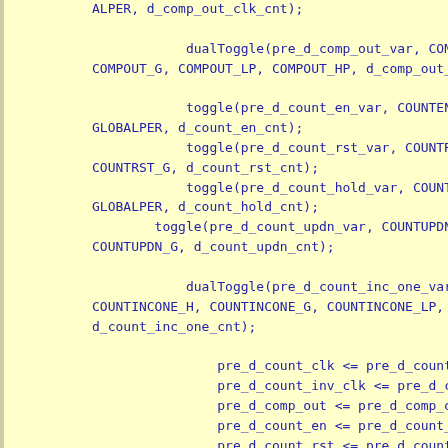Code snippet showing VHDL/HDL toggle and dualToggle function calls with signal assignments including pre_d_comp_out_var, COMPOUT_G, COMPOUT_LP, COMPOUT_HP, d_comp_out_cnt, pre_d_count_en_var, COUNTEN_L, GLOBALPER, d_count_en_cnt, pre_d_count_rst_var, COUNTRST, COUNTRST_G, d_count_rst_cnt, pre_d_count_hold_var, COUNTHO, GLOBALPER, d_count_hold_cnt, pre_d_count_updn_var, COUNTUPDN_L, COUNTUPDN_G, d_count_updn_cnt, dualToggle with pre_d_count_inc_one_var, COUNTINCONE_H, COUNTINCONE_G, COUNTINCONE_LP, COUNTI, d_count_inc_one_cnt, signal assignments pre_d_count_clk, pre_d_count_inv_clk, pre_d_comp_out, pre_d_count_en, pre_d_count_rst, pre_d_count_hold, pre_d_count_updn, pre_d_count_inc_one, end if, end process